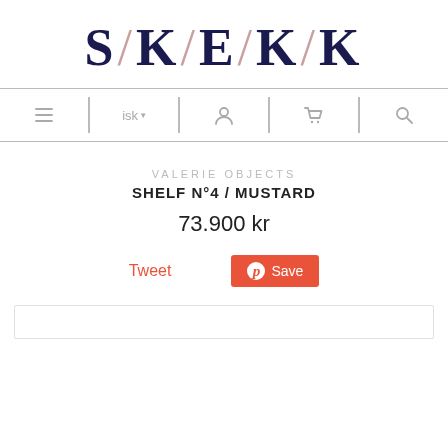[Figure (logo): SKEKK logo in dark navy blue serif font with decorative forward slashes between letters]
[Figure (screenshot): Navigation bar with hamburger menu, ISK currency selector, user icon, cart icon, and search icon, separated by vertical dividers]
VALERIE OBJECTS
SHELF N°4 / MUSTARD
73.900 kr
Tweet
Save